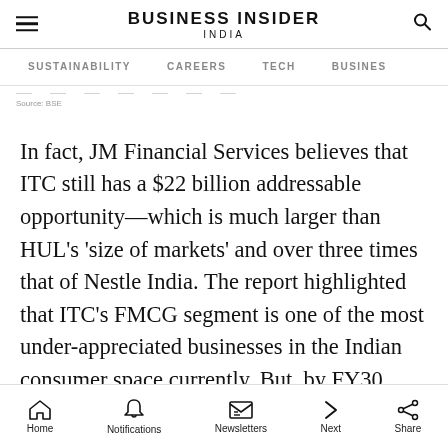BUSINESS INSIDER INDIA
SUSTAINABILITY   CAREERS   TECH   BUSINESS
Source: BSE
In fact, JM Financial Services believes that ITC still has a $22 billion addressable opportunity—which is much larger than HUL’s ‘size of markets’ and over three times that of Nestle India. The report highlighted that ITC’s FMCG segment is one of the most under-appreciated businesses in the Indian consumer space currently. But, by FY30, ITC could clock an FMCG EBITDA much higher than the combined FY20 EBITDA of its
Home   Notifications   Newsletters   Next   Share